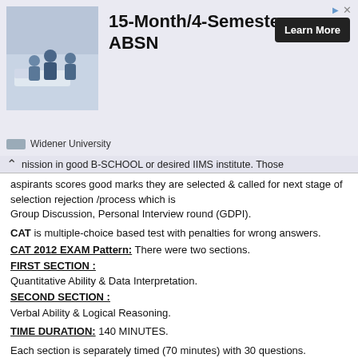[Figure (photo): Advertisement banner showing nursing/medical students in a clinical setting with text '15-Month/4-Semester ABSN' and 'Learn More' button, attributed to Widener University]
...y based on CAT percentile score, from which candidates can mission in good B-SCHOOL or desired IIMS institute. Those aspirants scores good marks they are selected & called for next stage of selection rejection /process which is Group Discussion, Personal Interview round (GDPI).
CAT is multiple-choice based test with penalties for wrong answers.
CAT 2012 EXAM Pattern: There were two sections.
FIRST SECTION :
Quantitative Ability & Data Interpretation.
SECOND SECTION :
Verbal Ability & Logical Reasoning.
TIME DURATION: 140 MINUTES.
Each section is separately timed (70 minutes) with 30 questions.
CAT SYLLABUS :
Verbal/English Ability : Reading comprehension & skills, verbal reasoning, antonyms and synonyms, fill in the blanks, sentence correction, idioms, etc.